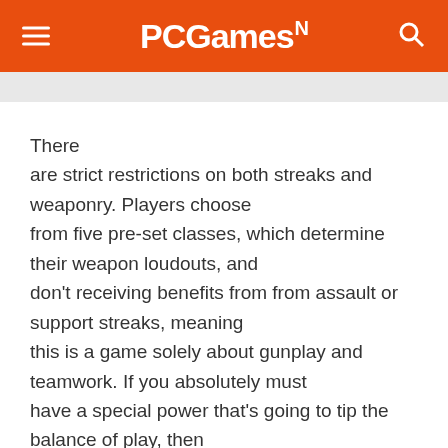PCGamesN
There are strict restrictions on both streaks and weaponry. Players choose from five pre-set classes, which determine their weapon loudouts, and don't receiving benefits from from assault or support streaks, meaning this is a game solely about gunplay and teamwork. If you absolutely must have a special power that's going to tip the balance of play, then you'd better grab that bomb, because at that moment something rather